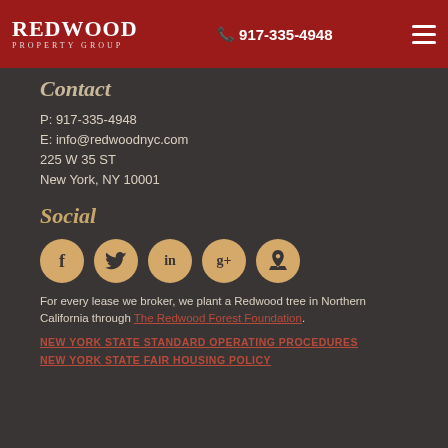Redwood Property Group | 917-335-4948
Contact
P: 917-335-4948
E: info@redwoodnyc.com
225 W 35 ST
New York, NY 10001
Social
[Figure (other): Five circular social media icons: Facebook (f), Twitter (bird), LinkedIn (in), Google+ (g+), Pinterest (p)]
For every lease we broker, we plant a Redwood tree in Northern California through The Redwood Forest Foundation.
NEW YORK STATE STANDARD OPERATING PROCEDURES
NEW YORK STATE FAIR HOUSING POLICY